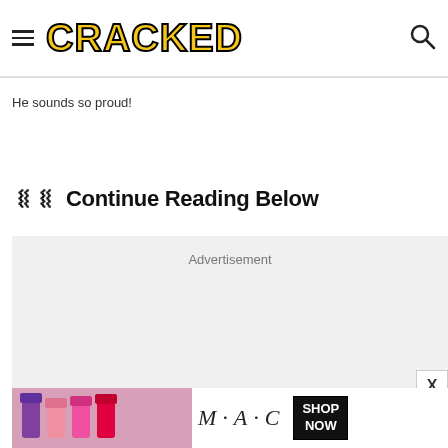CRACKED
He sounds so proud!
Continue Reading Below
[Figure (other): Advertisement placeholder box with gray background and 'Advertisement' label]
[Figure (other): MAC cosmetics banner advertisement showing lipsticks and SHOP NOW button]